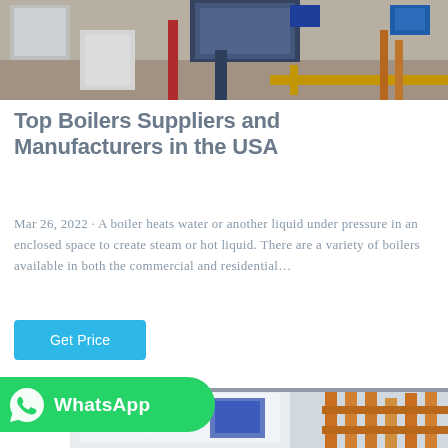[Figure (photo): Industrial boiler room with large blue boiler unit, red and yellow pipes, and concrete floor]
Top Boilers Suppliers and Manufacturers in the USA
Mar 26, 2022 · A boiler heats water or another liquid under pressure in an enclosed space to create steam or hot liquid. There are a variety of boilers available in both the commercial and residential…
Get Price
[Figure (logo): WhatsApp button with green background and WhatsApp icon]
[Figure (photo): White commercial boiler unit with copper/orange pipes on the right side]